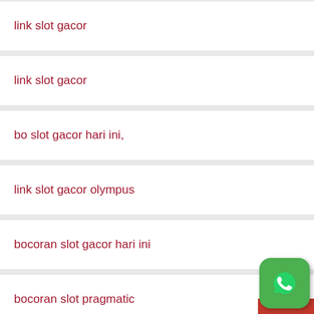link slot gacor
link slot gacor
bo slot gacor hari ini,
link slot gacor olympus
bocoran slot gacor hari ini
bocoran slot pragmatic
link slot gacor
slot gacor maxwin hari ini